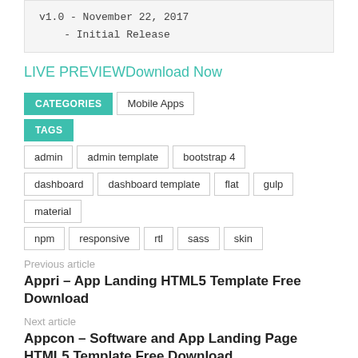v1.0 - November 22, 2017
    - Initial Release
LIVE PREVIEWDownload Now
CATEGORIES  Mobile Apps
TAGS  admin  admin template  bootstrap 4  dashboard  dashboard template  flat  gulp  material  npm  responsive  rtl  sass  skin
Previous article
Appri – App Landing HTML5 Template Free Download
Next article
Appcon – Software and App Landing Page HTML5 Template Free Download